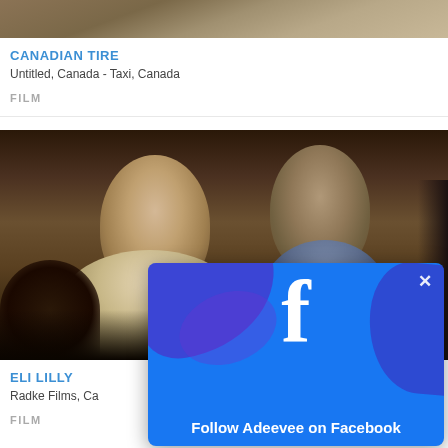[Figure (screenshot): Partial thumbnail image of Canadian Tire video content at top of page]
CANADIAN TIRE
Untitled, Canada - Taxi, Canada
FILM
[Figure (photo): Photo of two people (woman and man) in close conversation, blurred/cinematic style, for Eli Lilly production]
ELI LILLY
Radke Films, Ca
FILM
[Figure (screenshot): Facebook popup overlay with Facebook logo 'f' and text 'Follow Adeevee on Facebook', blue background with decorative swoosh, X close button in top right corner]